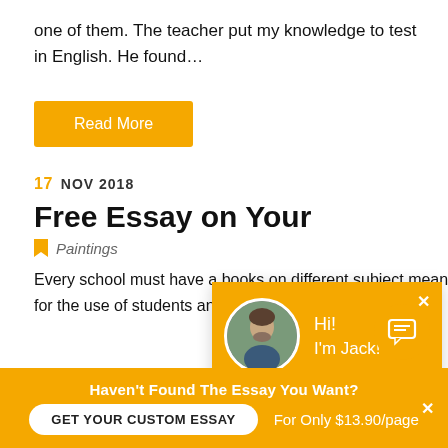one of them. The teacher put my knowledge to test in English. He found…
Read More
17 NOV 2018
Free Essay on Your
Paintings
Every school must have a books on different subject meant for the use of students and teachers. Our sc
[Figure (screenshot): Chat popup with avatar of Jack saying Hi! I'm Jack! Would you like to get a custom essay? How about receiving a customized one? Check it out]
Haven't Found The Essay You Want?
GET YOUR CUSTOM ESSAY
For Only $13.90/page